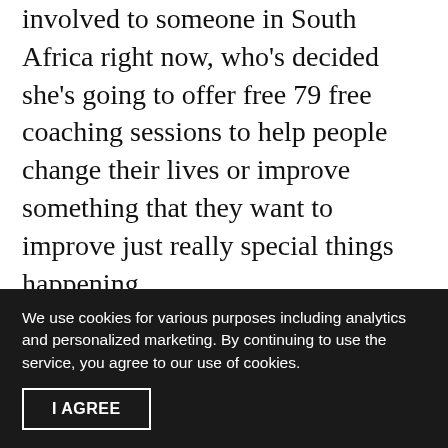involved to someone in South Africa right now, who's decided she's going to offer free 79 free coaching sessions to help people change their lives or improve something that they want to improve just really special things happening.
[00:41:50] So I just feel really inspired by these amazing people who are coming on board and doing things. And there's no. Real finance. There's no financial purpose to it. There's no, it's basically just something that's bringing a lot of amazingness to a lot of people in different ways
We use cookies for various purposes including analytics and personalized marketing. By continuing to use the service, you agree to our use of cookies.
I AGREE